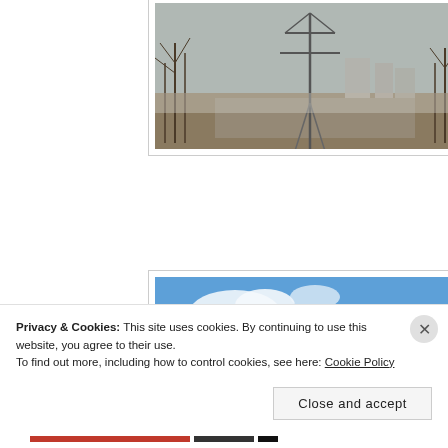[Figure (photo): Outdoor winter scene with power transmission tower, bare trees, flat ground, and buildings in background under overcast sky]
[Figure (photo): Railroad tracks receding into distance with blue sky and white clouds above; trees and vehicles visible on left side]
[Figure (photo): Power line strung across blue sky with white clouds; partial view, bright sunlight]
Privacy & Cookies: This site uses cookies. By continuing to use this website, you agree to their use.
To find out more, including how to control cookies, see here: Cookie Policy
Close and accept